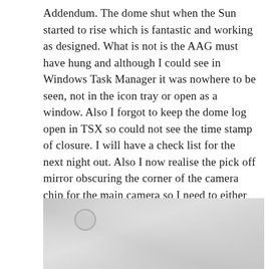Addendum. The dome shut when the Sun started to rise which is fantastic and working as designed. What is not is the AAG must have hung and although I could see in Windows Task Manager it was nowhere to be seen, not in the icon tray or open as a window. Also I forgot to keep the dome log open in TSX so could not see the time stamp of closure. I will have a check list for the next night out. Also I now realise the pick off mirror obscuring the corner of the camera chip for the main camera so I need to either move where the light is picked off from or move the mirror out slightly without effecting the focus.
[Figure (photo): A grayscale photograph showing a mostly grey, hazy scene with a small circular artifact (possibly a lens flare or dust spot) visible in the upper left area of the image.]